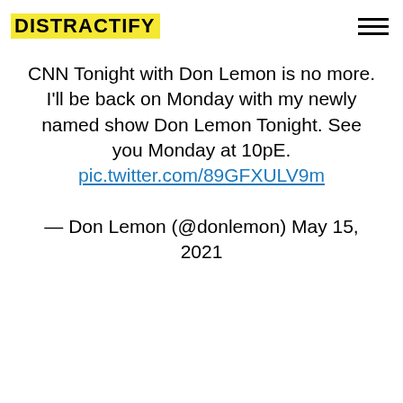DISTRACTIFY
CNN Tonight with Don Lemon is no more. I'll be back on Monday with my newly named show Don Lemon Tonight. See you Monday at 10pE. pic.twitter.com/89GFXULV9m

— Don Lemon (@donlemon) May 15, 2021